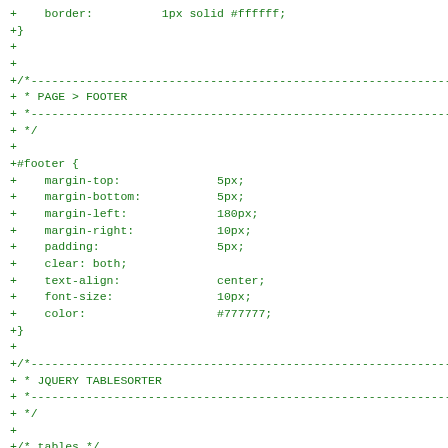+    border:          1px solid #ffffff;
+}
+
+
+/*------------------------------------------------------------------
+ * PAGE > FOOTER
+ *------------------------------------------------------------------
+ */
+
+#footer {
+    margin-top:              5px;
+    margin-bottom:           5px;
+    margin-left:             180px;
+    margin-right:            10px;
+    padding:                 5px;
+    clear: both;
+    text-align:              center;
+    font-size:               10px;
+    color:                   #777777;
+}
+
+/*------------------------------------------------------------------
+ * JQUERY TABLESORTER
+ *------------------------------------------------------------------
+ */
+
+/* tables */
+table.tablesorter {
+    font-family:             arial;
+    margin:                  10px 0pt 15px;